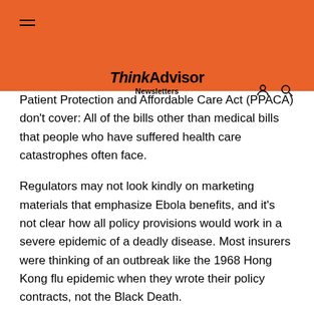ThinkAdvisor Newsletters
Patient Protection and Affordable Care Act (PPACA) don't cover: All of the bills other than medical bills that people who have suffered health care catastrophes often face.
Regulators may not look kindly on marketing materials that emphasize Ebola benefits, and it's not clear how all policy provisions would work in a severe epidemic of a deadly disease. Most insurers were thinking of an outbreak like the 1968 Hong Kong flu epidemic when they wrote their policy contracts, not the Black Death.
But here's a look at some of the products